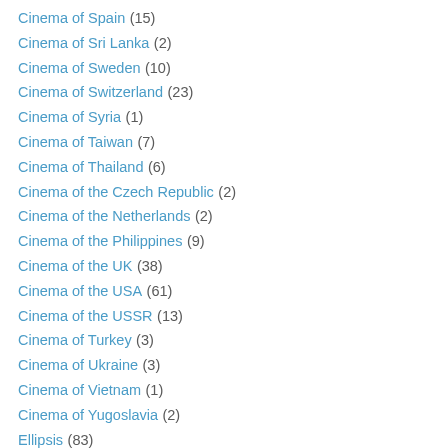Cinema of Spain (15)
Cinema of Sri Lanka (2)
Cinema of Sweden (10)
Cinema of Switzerland (23)
Cinema of Syria (1)
Cinema of Taiwan (7)
Cinema of Thailand (6)
Cinema of the Czech Republic (2)
Cinema of the Netherlands (2)
Cinema of the Philippines (9)
Cinema of the UK (38)
Cinema of the USA (61)
Cinema of the USSR (13)
Cinema of Turkey (3)
Cinema of Ukraine (3)
Cinema of Vietnam (1)
Cinema of Yugoslavia (2)
Ellipsis (83)
Filmmakers (37)
Flashback (89)